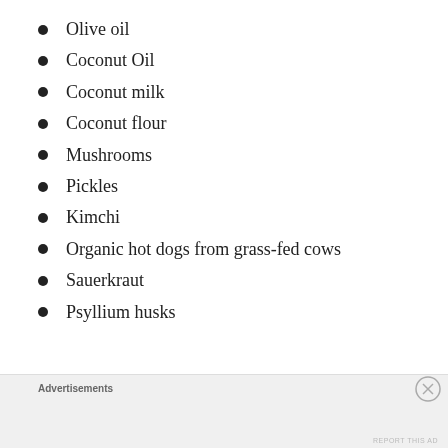Olive oil
Coconut Oil
Coconut milk
Coconut flour
Mushrooms
Pickles
Kimchi
Organic hot dogs from grass-fed cows
Sauerkraut
Psyllium husks
Advertisements